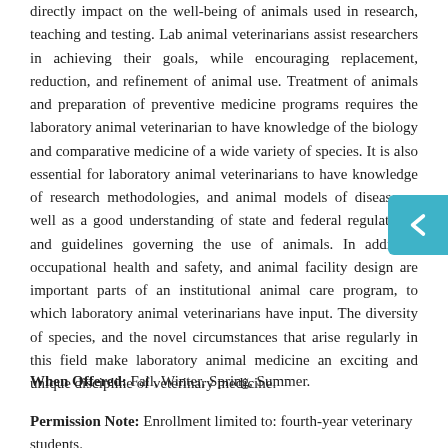directly impact on the well-being of animals used in research, teaching and testing. Lab animal veterinarians assist researchers in achieving their goals, while encouraging replacement, reduction, and refinement of animal use. Treatment of animals and preparation of preventive medicine programs requires the laboratory animal veterinarian to have knowledge of the biology and comparative medicine of a wide variety of species. It is also essential for laboratory animal veterinarians to have knowledge of research methodologies, and animal models of disease as well as a good understanding of state and federal regulations, and guidelines governing the use of animals. In addition, occupational health and safety, and animal facility design are important parts of an institutional animal care program, to which laboratory animal veterinarians have input. The diversity of species, and the novel circumstances that arise regularly in this field make laboratory animal medicine an exciting and unique discipline of veterinary medicine.
When Offered: Fall, Winter, Spring, Summer.
Permission Note: Enrollment limited to: fourth-year veterinary students.